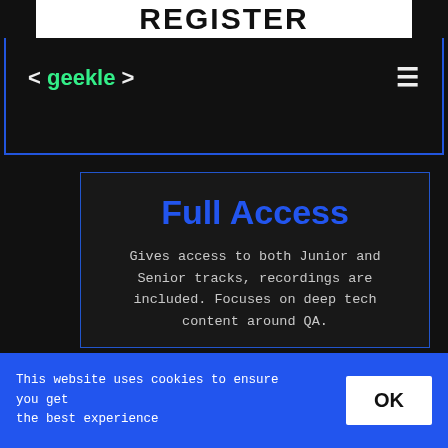REGISTER
< geekle >
Full Access
Gives access to both Junior and Senior tracks, recordings are included. Focuses on deep tech content around QA.
$159 $350 FULL PRICE
Live stream for both tracks
This website uses cookies to ensure you get the best experience